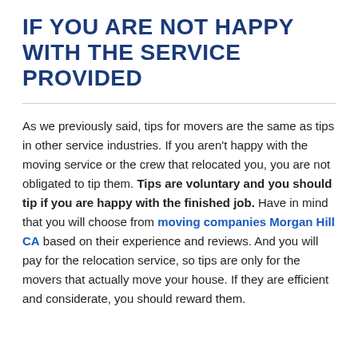IF YOU ARE NOT HAPPY WITH THE SERVICE PROVIDED
As we previously said, tips for movers are the same as tips in other service industries. If you aren't happy with the moving service or the crew that relocated you, you are not obligated to tip them. Tips are voluntary and you should tip if you are happy with the finished job. Have in mind that you will choose from moving companies Morgan Hill CA based on their experience and reviews. And you will pay for the relocation service, so tips are only for the movers that actually move your house. If they are efficient and considerate, you should reward them.